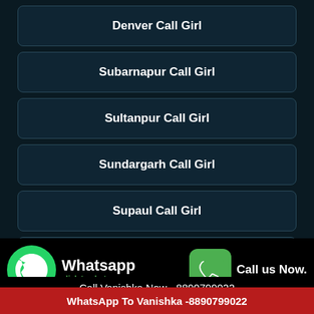Denver Call Girl
Subarnapur Call Girl
Sultanpur Call Girl
Sundargarh Call Girl
Supaul Call Girl
Surabaya Call Girl
Surakarta Call Girl
[Figure (screenshot): WhatsApp click to chat banner with green WhatsApp logo on left and Call us Now. section with green phone icon on right, overlaid on dark background]
Call Vanishka Now - 8890799022
WhatsApp To Vanishka -8890799022